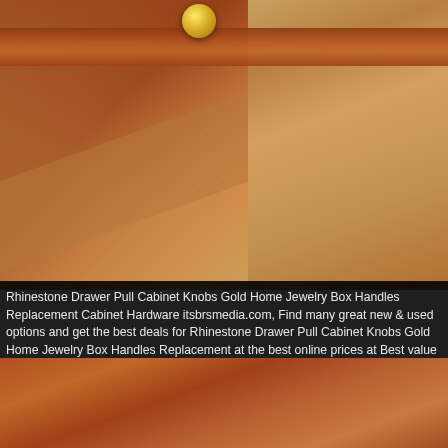[Figure (photo): Close-up photo of a wooden drawer or cabinet panel with a gold metallic knob/handle at the top, showing rich reddish-brown wood grain texture]
Rhinestone Drawer Pull Cabinet Knobs Gold Home Jewelry Box Handles Replacement Cabinet Hardware itsbrsmedia.com, Find many great new & used options and get the best deals for Rhinestone Drawer Pull Cabinet Knobs Gold Home Jewelry Box Handles Replacement at the best online prices at Best value for high quality Free shipping for many products We provide a buyer protection guarantee., Rhinestone Drawer Pull Cabinet Knobs Gold Home Jewelry Box Handles Replacement Happy shopping Buy online or visit our stores now., Daily Deals for upto 90% off discounts. we offer FREE same day shipping Rhinestone Drawer Pull Cabinet Knobs Gold Home Jewelry Box Handles Replacement.
HomeHome & GardenHome ImprovementBuilding & HardwareCabinet HardwareCabinet PullsRhinestone Drawer Pull Cabinet Knobs Gold Home Jewelry Box Handles Replacement